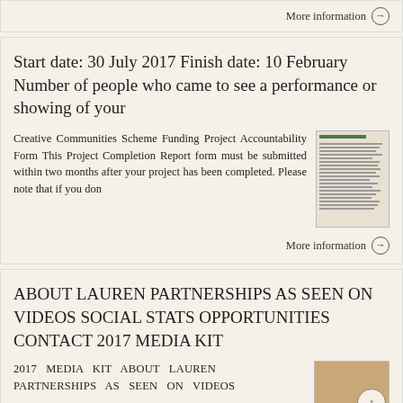More information →
Start date: 30 July 2017 Finish date: 10 February Number of people who came to see a performance or showing of your
Creative Communities Scheme Funding Project Accountability Form This Project Completion Report form must be submitted within two months after your project has been completed. Please note that if you don
[Figure (screenshot): Thumbnail image of a document form]
More information →
ABOUT LAUREN PARTNERSHIPS AS SEEN ON VIDEOS SOCIAL STATS OPPORTUNITIES CONTACT 2017 MEDIA KIT
2017 MEDIA KIT ABOUT LAUREN PARTNERSHIPS AS SEEN ON VIDEOS
[Figure (photo): Thumbnail photo of a person]